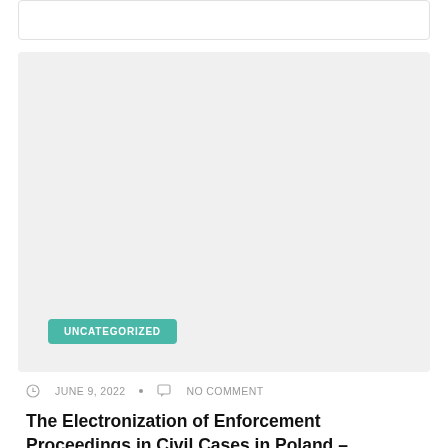[Figure (other): Gray placeholder image card at the top of the page]
UNCATEGORIZED
JUNE 9, 2022 • NO COMMENT
The Electronization of Enforcement Proceedings in Civil Cases in Poland –